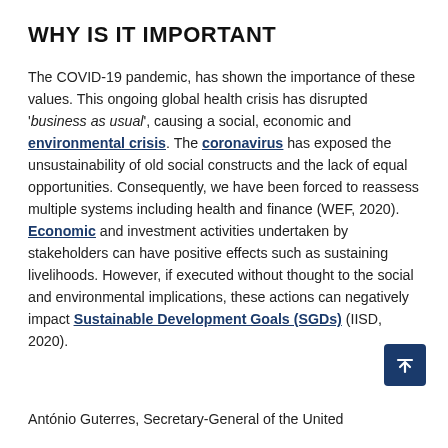WHY IS IT IMPORTANT
The COVID-19 pandemic, has shown the importance of these values. This ongoing global health crisis has disrupted 'business as usual', causing a social, economic and environmental crisis. The coronavirus has exposed the unsustainability of old social constructs and the lack of equal opportunities. Consequently, we have been forced to reassess multiple systems including health and finance (WEF, 2020). Economic and investment activities undertaken by stakeholders can have positive effects such as sustaining livelihoods. However, if executed without thought to the social and environmental implications, these actions can negatively impact Sustainable Development Goals (SGDs) (IISD, 2020).
António Guterres, Secretary-General of the United